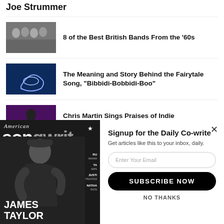Joe Strummer
8 of the Best British Bands From the '60s
The Meaning and Story Behind the Fairytale Song, “Bibbidi-Bobbidi-Boo”
Chris Martin Sings Praises of Indie Singer/Songwriter Victoria Canal
[Figure (screenshot): American Songwriter magazine cover featuring James Taylor]
Signup for the Daily Co-write
Get articles like this to your inbox, daily.
Enter Your Email
SUBSCRIBE NOW
NO THANKS